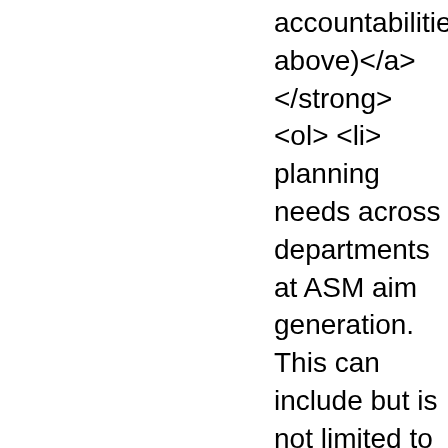accountabilities above)</a></strong> <ol> <li>planning needs across departments at ASM aimed at generation. This can include but is not limited to plans, conducting donor or corporate landscape corporate sponsorship agreements and other i agreements.</li> <li>Support ASM&#39;s Corp program. This can include but is not limited to o member prospects, relationship management w sponsorship management, content support for and present summary documents reflecting acti deliverables, risks, etc. for internal leadership a <li>Draft and present summary documents abo programs to external partners.</li> <li>Review a partnership agreements.</li> <li>Support and r for grants and award submissions.</li> <li>This should not be construed to contain every functio may be required to be performed by an incumbe Incumbents are required to perform other functi </ol> &nbsp;<br /> <strong>Technical Compete <strong> (</strong><strong>are applied or prac skills needed for effective technical performance <li>Presentation and written communication ski knowledge of scientific terms</li> <li>Planning a skills</li> <li>Project management skills</li> <li <li>Strategic thinking skills</li> <li>Proficient in